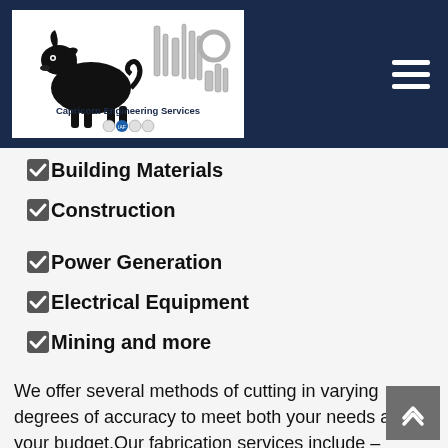[Figure (logo): Capricorn Engineering Services logo with goat and engineering parts, certification badges including IAF and ISO]
☑Building Materials
☑Construction
☑Power Generation
☑Electrical Equipment
☑Mining and more
We offer several methods of cutting in varying degrees of accuracy to meet both your needs and your budget.Our fabrication services include –
☑Cutting